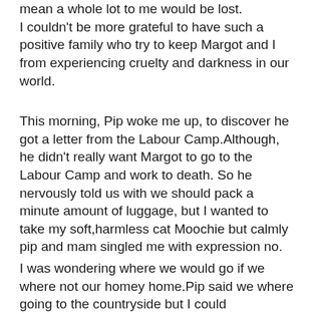mean a whole lot to me would be lost. I couldn't be more grateful to have such a positive family who try to keep Margot and I from experiencing cruelty and darkness in our world.
This morning, Pip woke me up, to discover he got a letter from the Labour Camp.Although, he didn't really want Margot to go to the Labour Camp and work to death. So he nervously told us with we should pack a minute amount of luggage, but I wanted to take my soft,harmless cat Moochie but calmly pip and mam singled me with expression no.
I was wondering where we would go if we where not our homey home.Pip said we where going to the countryside but I could